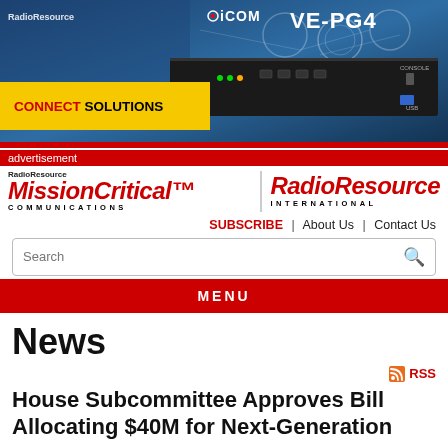[Figure (photo): ICOM advertisement banner showing VE-PG4 device with 'CONNECT SOLUTIONS' text on yellow strip and connectivity icons on blue background]
advertisement
RadioResource MissionCritical Communications | RadioResource International
SUBSCRIBE | About Us | Contact Us
Search
MENU
News
RSS
House Subcommittee Approves Bill Allocating $40M for Next-Generation